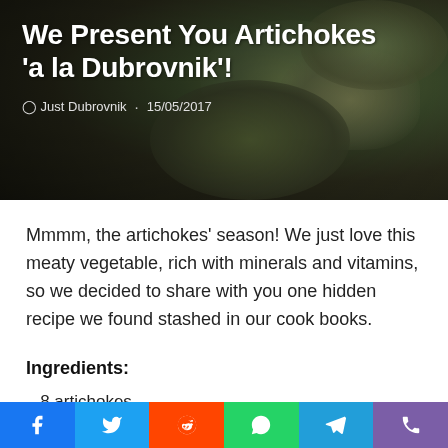[Figure (photo): Dark olive-toned close-up photo of artichokes with capers and seasonings, used as hero banner background]
We Present You Artichokes 'a la Dubrovnik'!
Just Dubrovnik · 15/05/2017
Mmmm, the artichokes' season! We just love this meaty vegetable, rich with minerals and vitamins, so we decided to share with you one hidden recipe we found stashed in our cook books.
Ingredients:
– 8 artichokes
– 5 tsp breadcrumbs